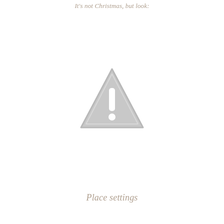It's not Christmas, but look:
[Figure (illustration): A grey warning triangle icon with an exclamation mark inside, centered on the page.]
Place settings